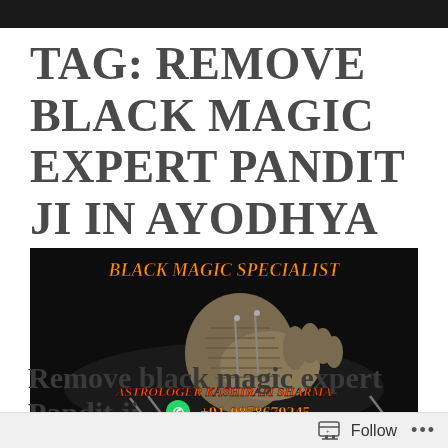TAG: REMOVE BLACK MAGIC EXPERT PANDIT JI IN AYODHYA
[Figure (photo): Dark background image showing a voodoo doll made of cloth/knit material with nails/pins, with orange bold text 'BLACK MAGIC SPECIALIST' at top, 'ASTROLOGER KASHIRAM SHARMA' in middle, and WhatsApp icon with phone number '+91-9878679245' at bottom.]
Remove black magic expert Pandit ji
Follow ...